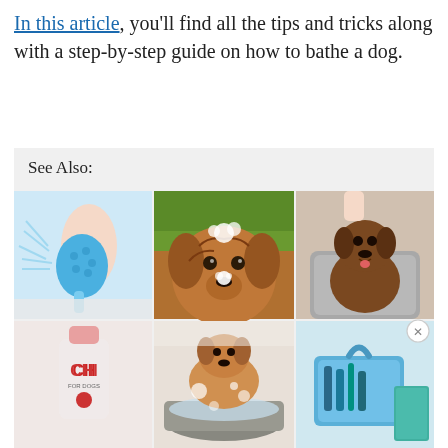In this article, you'll find all the tips and tricks along with a step-by-step guide on how to bathe a dog.
See Also:
[Figure (photo): A 2x3 grid of dog bathing related images: a silicone bath glove with water, a golden doodle dog with soap suds on its nose outdoors, a brown curly dog wrapped in a gray towel, a CHI for dogs shampoo bottle, a dog in a metal tub with soap bubbles, and a blue plastic container with grooming tools.]